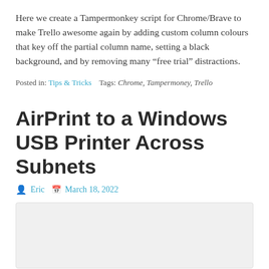Here we create a Tampermonkey script for Chrome/Brave to make Trello awesome again by adding custom column colours that key off the partial column name, setting a black background, and by removing many “free trial” distractions.
Posted in: Tips & Tricks    Tags: Chrome, Tampermoney, Trello
AirPrint to a Windows USB Printer Across Subnets
Eric   March 18, 2022
[Figure (other): Light gray placeholder image block below the post header]